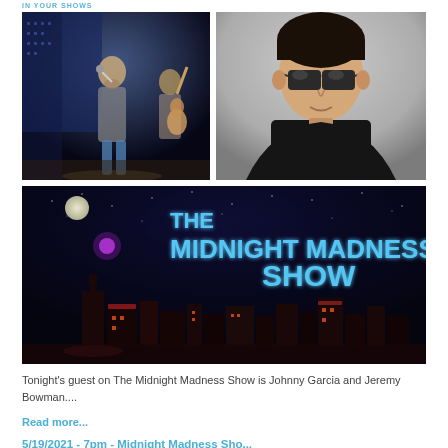IN YOUR SHOWS
[Figure (photo): Two performers on stage, one singing into microphone, one playing guitar, with blue stage lighting]
[Figure (photo): Man wearing sunglasses and black shirt, portrait photo]
[Figure (photo): The Midnight Madness Show banner — night skyline of Nashville with large glowing text 'THE MIDNIGHT MADNESS SHOW']
Tonight's guest on The Midnight Madness Show is Johnny Garcia and Jeremy Bowman....
Read more...
5/19/2021 - 7pm - Midnight Madness Sho...